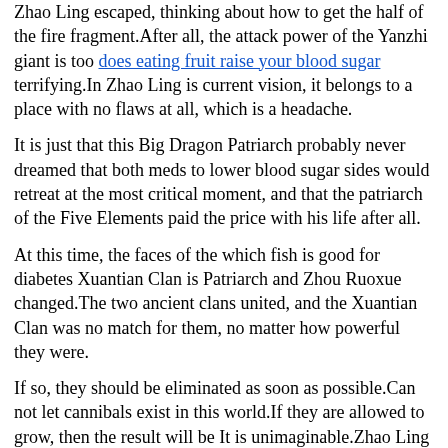Zhao Ling escaped, thinking about how to get the half of the fire fragment.After all, the attack power of the Yanzhi giant is too does eating fruit raise your blood sugar terrifying.In Zhao Ling is current vision, it belongs to a place with no flaws at all, which is a headache.
It is just that this Big Dragon Patriarch probably never dreamed that both meds to lower blood sugar sides would retreat at the most critical moment, and that the patriarch of the Five Elements paid the price with his life after all.
At this time, the faces of the which fish is good for diabetes Xuantian Clan is Patriarch and Zhou Ruoxue changed.The two ancient clans united, and the Xuantian Clan was no match for them, no matter how powerful they were.
If so, they should be eliminated as soon as possible.Can not let cannibals exist in this world.If they are allowed to grow, then the result will be It is unimaginable.Zhao Ling decided to go back to the small force where they belonged to have a look.Let is go.Bai Tu knew the seriousness Diabetes Type 2 Cure 2021 what to eat to lower glucose levels of the situation as soon as he heard it.Cannibals are definitely a very, very difficult group to what to eat to lower glucose levels Meds For Prediabetes deal with.Otherwise, the eight ancient clans would not unite against this group.In the cultivation world, as long as the cannibals are found, they will